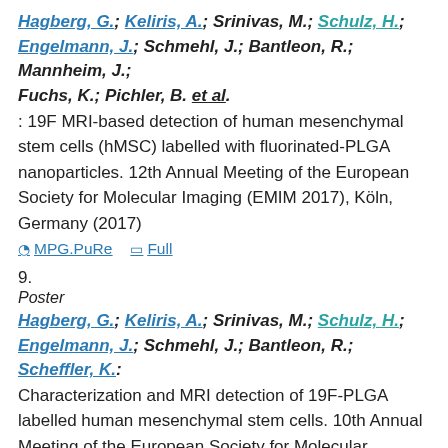Hagberg, G.; Keliris, A.; Srinivas, M.; Schulz, H.; Engelmann, J.; Schmehl, J.; Bantleon, R.; Mannheim, J.; Fuchs, K.; Pichler, B. et al.: 19F MRI-based detection of human mesenchymal stem cells (hMSC) labelled with fluorinated-PLGA nanoparticles. 12th Annual Meeting of the European Society for Molecular Imaging (EMIM 2017), Köln, Germany (2017)
MPG.PuRe  Full
9.
Poster
Hagberg, G.; Keliris, A.; Srinivas, M.; Schulz, H.; Engelmann, J.; Schmehl, J.; Bantleon, R.; Scheffler, K.: Characterization and MRI detection of 19F-PLGA labelled human mesenchymal stem cells. 10th Annual Meeting of the European Society for Molecular Imaging (EMIM 2015), Tübingen, Germany (2015)